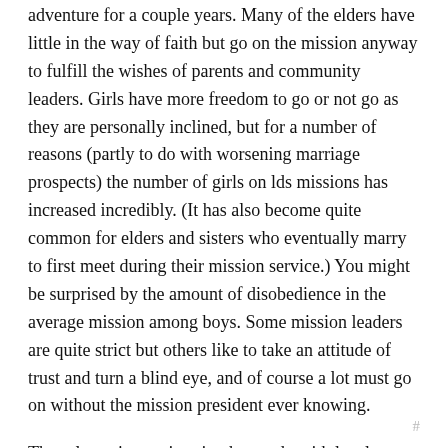adventure for a couple years. Many of the elders have little in the way of faith but go on the mission anyway to fulfill the wishes of parents and community leaders. Girls have more freedom to go or not go as they are personally inclined, but for a number of reasons (partly to do with worsening marriage prospects) the number of girls on lds missions has increased incredibly. (It has also become quite common for elders and sisters who eventually marry to first meet during their mission service.) You might be surprised by the amount of disobedience in the average mission among boys. Some mission leaders are quite strict but others like to take an attitude of trust and turn a blind eye, and of course a lot must go on without the mission president ever knowing.
The rule against swimming has to do with legal liability. Full court basketball is also not allowed, though of course it is played anyway. I'm not a lawyer so I can't pretend to evaluate how prudent this is, but they are a big target and many people would like to sue them.
T.
#